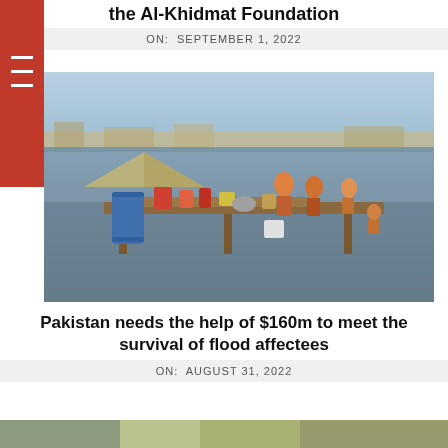the Al-Khidmat Foundation
ON:  SEPTEMBER 1, 2022
[Figure (photo): Flood victims in Pakistan sitting on elevated makeshift platforms surrounded by floodwater, with belongings including a blue barrel and cooking pots visible.]
Pakistan needs the help of $160m to meet the survival of flood affectees
ON:  AUGUST 31, 2022
[Figure (photo): Partial bottom image strip showing flood or field scene.]